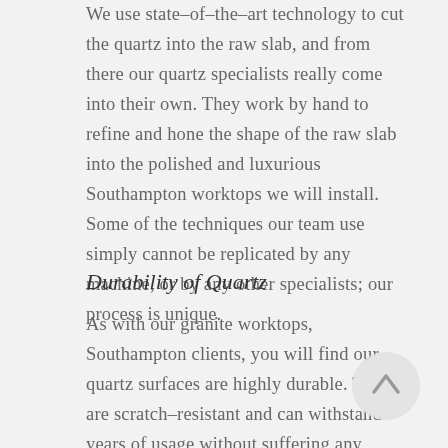We use state-of-the-art technology to cut the quartz into the raw slab, and from there our quartz specialists really come into their own. They work by hand to refine and hone the shape of the raw slab into the polished and luxurious Southampton worktops we will install. Some of the techniques our team use simply cannot be replicated by any machine, or by any other specialists; our process is unique.
Durability of Quartz
As with our granite worktops, Southampton clients, you will find our quartz surfaces are highly durable. They are scratch-resistant and can withstand years of usage without suffering any
[Figure (other): A circular scroll-to-top button with an upward-pointing arrow, light gray circle with darker gray arrow icon]